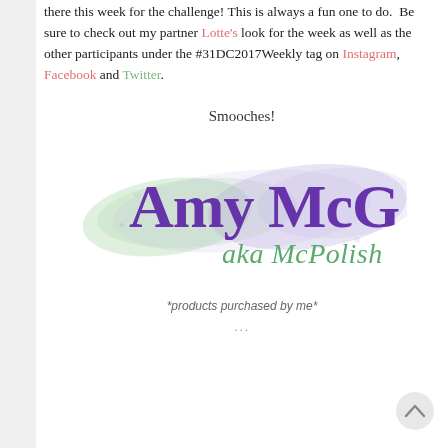there this week for the challenge! This is always a fun one to do.  Be sure to check out my partner Lotte's look for the week as well as the other participants under the #31DC2017Weekly tag on Instagram, Facebook and Twitter.
Smooches!
[Figure (logo): Signature logo reading 'Amy McG aka McPolish' in purple cursive script on a watercolor paint stroke background in pastel green, blue, and purple]
*products purchased by me*
...